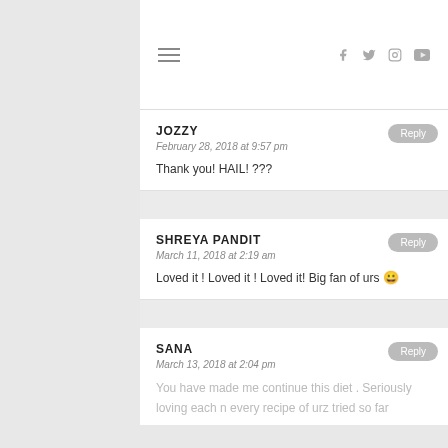≡  f  twitter  instagram  youtube
JOZZY
February 28, 2018 at 9:57 pm
Thank you! HAIL! ???
SHREYA PANDIT
March 11, 2018 at 2:19 am
Loved it ! Loved it ! Loved it! Big fan of urs 😀
SANA
March 13, 2018 at 2:04 pm
You have made me continue this diet . Seriously loving each n every recipe of urz tried so far